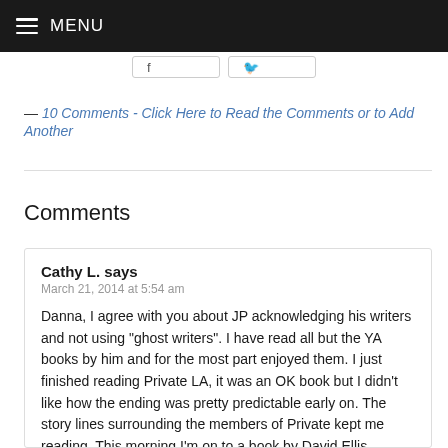MENU
— 10 Comments - Click Here to Read the Comments or to Add Another
Comments
Cathy L. says
March 21, 2014 at 5:54 am

Danna, I agree with you about JP acknowledging his writers and not using “ghost writers”. I have read all but the YA books by him and for the most part enjoyed them. I just finished reading Private LA, it was an OK book but I didn’t like how the ending was pretty predictable early on. The story lines surrounding the members of Private kept me reading. This morning I’m on to a book by David Ellis, Breach of Truth. Wishing everyone a Happy Spring and good reading.